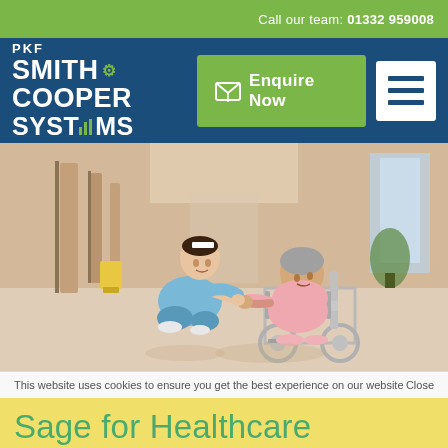Call our team: 01332 959008
[Figure (logo): PKF Smith Cooper Systems logo in white text on dark blue background]
Enquire Now
[Figure (photo): A nurse in blue scrubs kneeling to talk with an elderly patient in a pink gown seated in a wheelchair, in a hospital corridor]
This website uses cookies to ensure you get the best experience on our website
Close
Sage for Healthcare